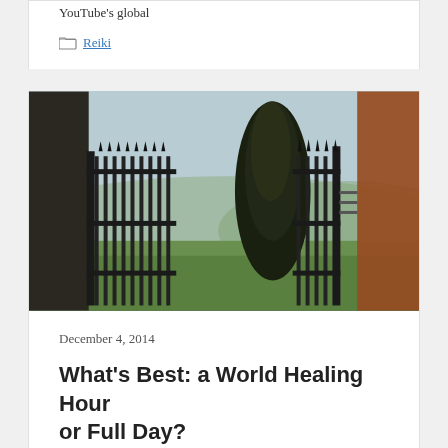YouTube's global
Reiki
[Figure (photo): Iron gate with tall cypress tree and rolling green hills in the background, misty sky]
December 4, 2014
What's Best: a World Healing Hour or Full Day?